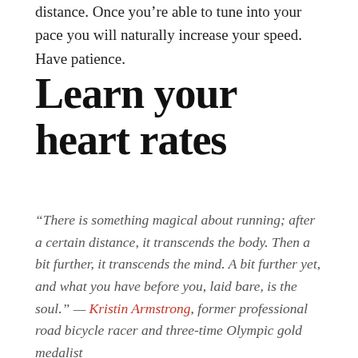distance. Once you’re able to tune into your pace you will naturally increase your speed. Have patience.
Learn your heart rates
“There is something magical about running; after a certain distance, it transcends the body. Then a bit further, it transcends the mind. A bit further yet, and what you have before you, laid bare, is the soul.” — Kristin Armstrong, former professional road bicycle racer and three-time Olympic gold medalist